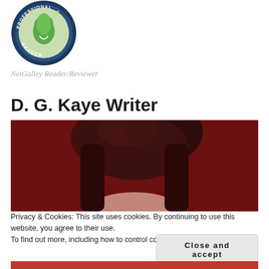[Figure (logo): NetGalley Professional Reader badge — circular dark blue badge with green hand/leaf icon and text 'PROFESSIONAL READER' around the border with stars]
NetGalley Reader/Reviewer
D. G. Kaye Writer
[Figure (photo): Portrait photo of a person with dark reddish-brown curly hair against a dark red/maroon background, showing top of head and forehead]
Privacy & Cookies: This site uses cookies. By continuing to use this website, you agree to their use.
To find out more, including how to control cookies, see here: Cookie Policy
Close and accept